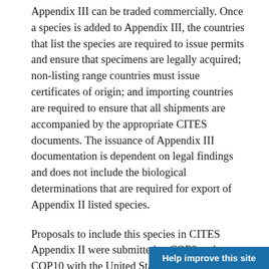Appendix III can be traded commercially. Once a species is added to Appendix III, the countries that list the species are required to issue permits and ensure that specimens are legally acquired; non-listing range countries must issue certificates of origin; and importing countries are required to ensure that all shipments are accompanied by the appropriate CITES documents. The issuance of Appendix III documentation is dependent on legal findings and does not include the biological determinations that are required for export of Appendix II listed species.
Proposals to include this species in CITES Appendix II were submitted at COP8 and COP10 with the United States as a co-sponsor with Costa Rica and Bolivia, respectively, and at COP9 by the Netherlands. In our April 18, 2002, Federal Register notice (67 Fed.Reg. 19207) we indicated that we did not plan to submit a proposal for this species, although...